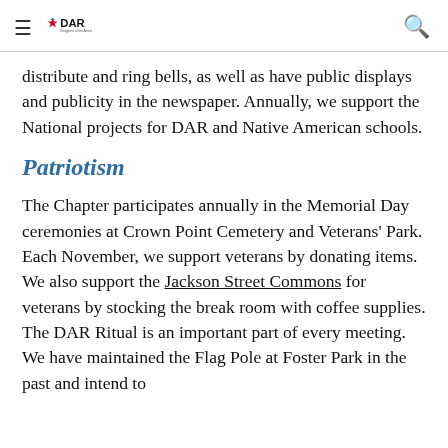DAR — Daughters of the American Revolution
distribute and ring bells, as well as have public displays and publicity in the newspaper. Annually, we support the National projects for DAR and Native American schools.
Patriotism
The Chapter participates annually in the Memorial Day ceremonies at Crown Point Cemetery and Veterans' Park. Each November, we support veterans by donating items. We also support the Jackson Street Commons for veterans by stocking the break room with coffee supplies. The DAR Ritual is an important part of every meeting. We have maintained the Flag Pole at Foster Park in the past and intend to